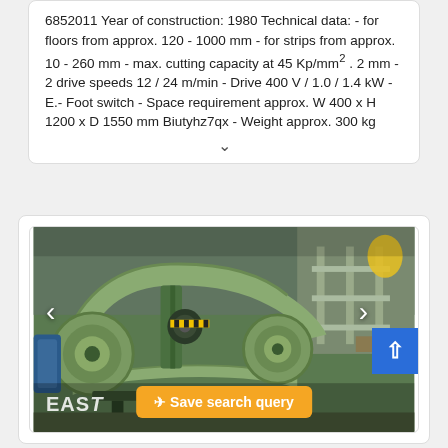6052011 Year of construction: 1980 Technical data: - for floors from approx. 120 - 1000 mm - for strips from approx. 10 - 260 mm - max. cutting capacity at 45 Kp/mm² . 2 mm - 2 drive speeds 12 / 24 m/min - Drive 400 V / 1.0 / 1.4 kW - E.- Foot switch - Space requirement approx. W 400 x H 1200 x D 1550 mm Biutyhz7qx - Weight approx. 300 kg
[Figure (photo): Photo of a green industrial band saw or metal cutting machine on a workshop floor, viewed from the side. The machine has a large curved frame painted in light green/sage color. Navigation arrows (left and right chevrons) are overlaid on the image for a carousel.]